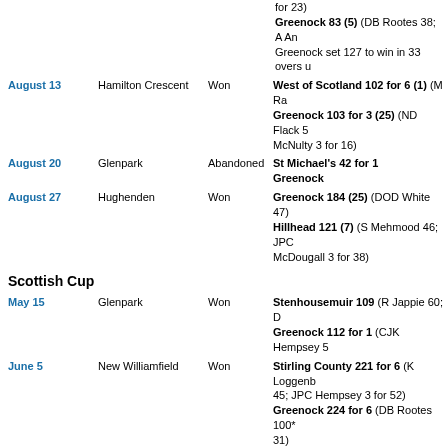for 23) Greenock 83 (5) (DB Rootes 38; A An Greenock set 127 to win in 33 overs u
August 13 | Hamilton Crescent | Won | West of Scotland 102 for 6 (1) (M Ra Greenock 103 for 3 (25) (ND Flack 5 McNulty 3 for 16)
August 20 | Glenpark | Abandoned | St Michael's 42 for 1 Greenock
August 27 | Hughenden | Won | Greenock 184 (25) (DOD White 47) Hillhead 121 (7) (S Mehmood 46; JPC McDougall 3 for 38)
Scottish Cup
May 15 | Glenpark | Won | Stenhousemuir 109 (R Jappie 60; D Greenock 112 for 1 (CJK Hempsey 5
June 5 | New Williamfield | Won | Stirling County 221 for 6 (K Loggenb 45; JPC Hempsey 3 for 52) Greenock 224 for 6 (DB Rootes 100* 31)
July 12 | Glenpark | Lost | Carlton 122 for 9 (AR Pillai 41; ND F for 19) Greenock 75 for 9
West League Cup
May 11 | Glenpark | Lost | Greenock 80 Ferguslie 83 for 4 (M Ramsaroop 37
May 25 | Glenpark | Won | Renfrew 103 for 8 (GJ McDougall 3 f Greenock 106 for 5 (DB Rootes 56*